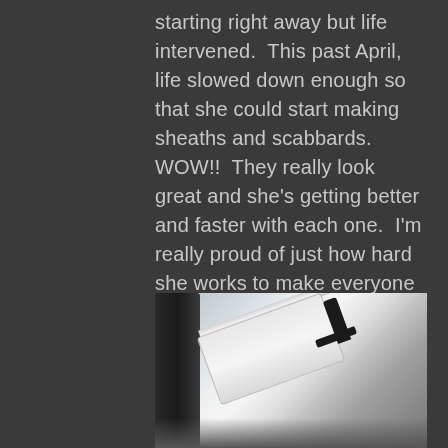starting right away but life intervened.  This past April, life slowed down enough so that she could start making sheaths and scabbards.  WOW!!  They really look great and she's getting better and faster with each one.  I'm really proud of just how hard she works to make everyone of them the best that she can.  We will be adding new stock to the store pages soon,  so be sure to take a look at the sheaths and blog posts from Trena!!
[Figure (photo): Close-up photo of a sword and leather sheath/scabbard against a light background, with a dark strap visible on the left side.]